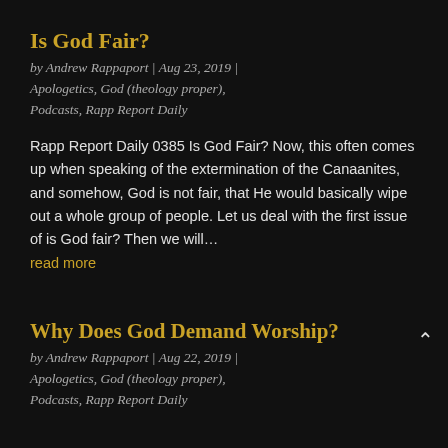Is God Fair?
by Andrew Rappaport | Aug 23, 2019 | Apologetics, God (theology proper), Podcasts, Rapp Report Daily
Rapp Report Daily 0385 Is God Fair? Now, this often comes up when speaking of the extermination of the Canaanites, and somehow, God is not fair, that He would basically wipe out a whole group of people. Let us deal with the first issue of is God fair? Then we will…
read more
Why Does God Demand Worship?
by Andrew Rappaport | Aug 22, 2019 | Apologetics, God (theology proper), Podcasts, Rapp Report Daily